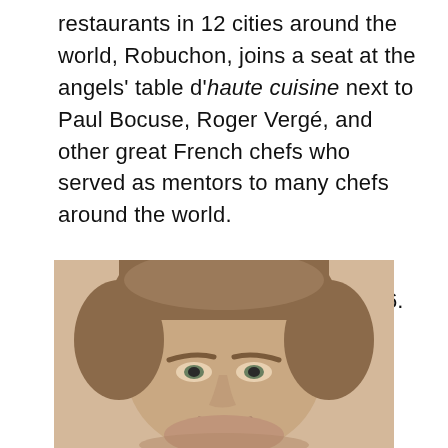restaurants in 12 cities around the world, Robuchon, joins a seat at the angels' table d'haute cuisine next to Paul Bocuse, Roger Vergé, and other great French chefs who served as mentors to many chefs around the world.

Maybe that's why the night sky shined a little brighter on August 6. Heaven just gained some more Michelin stars. RIP Chef.
[Figure (photo): Portrait photograph of a man (Joël Robuchon) with short brown hair, facing slightly downward, cropped at the shoulders, shown from approximately the chest up.]